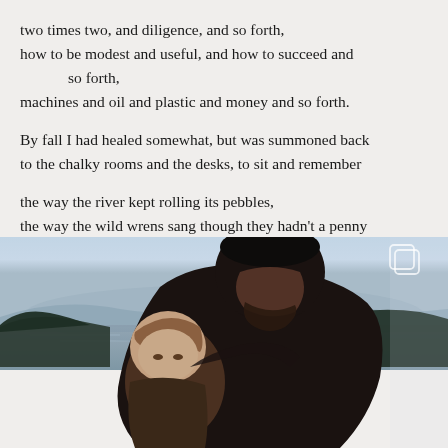two times two, and diligence, and so forth,
how to be modest and useful, and how to succeed and
    so forth,
machines and oil and plastic and money and so forth.

By fall I had healed somewhat, but was summoned back
to the chalky rooms and the desks, to sit and remember

the way the river kept rolling its pebbles,
the way the wild wrens sang though they hadn't a penny
    in the bank,
the way the flowers were dressed in nothing but light.
[Figure (photo): A man with dark hair and beard holding a young child (toddler with light brown hair), both looking downward, with a lake and misty mountains in the background. Soft, muted outdoor lighting at dusk or dawn.]